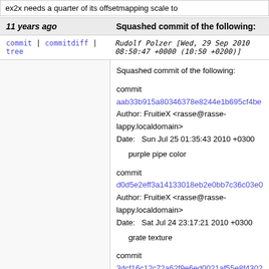ex2x needs a quarter of its offsetmapping scale to
| 11 years ago | Squashed commit of the following: |
| --- | --- |
| commit | commitdiff | tree  Rudolf Polzer [Wed, 29 Sep 2010 08:50:47 +0000 (10:50 +0200)] |  |
|  | Squashed commit of the following:

commit aab33b915a80346378e8244e1b695cf4be
Author: FruitieX <rasse@rasse-lappy.localdomain>
Date:   Sun Jul 25 01:35:43 2010 +0300

    purple pipe color

commit d0d5e2eff3a14133018eb2e0bb7c36c03e0
Author: FruitieX <rasse@rasse-lappy.localdomain>
Date:   Sat Jul 24 23:17:21 2010 +0300

    grate texture

commit 3dcf16c12c72a62f9e6ed0021af55e8f4302
Author: FruitieX <rasse@rasse-lappy.localdomain>
Date:   Sat Jul 24 22:50:26 2010 +0300

    wrn01 colors |